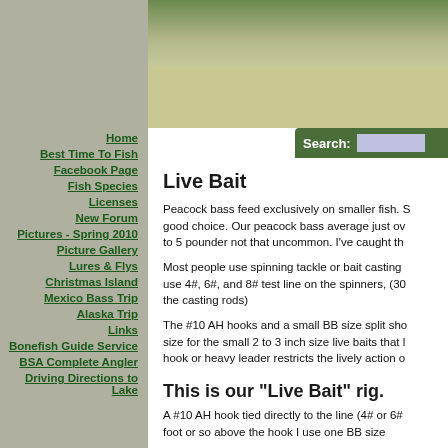[Figure (illustration): Fish illustration in green header banner at top left]
Home
Best Time To Fish
Facebook Page
Fish Species
Licenses
New Forum
Pictures - Spring 2010
Picture Gallery
Lures & Flys
Christmas Island
Mexico Bass Trip
Alaska Trip
Links
Bonefish Guide Service
BSA Complete Angler
Driving Directions to Lake
Live Bait
Peacock bass feed exclusively on smaller fish. S... good choice. Our peacock bass average just ov... to 5 pounder not that uncommon. I've caught th...
Most people use spinning tackle or bait casting ... use 4#, 6#, and 8# test line on the spinners, (30... the casting rods)
The #10 AH hooks and a small BB size split sho... size for the small 2 to 3 inch size live baits that l... hook or heavy leader restricts the lively action o...
This is our "Live Bait" rig.
A #10 AH hook tied directly to the line (4# or 6#... foot or so above the hook I use one BB size...